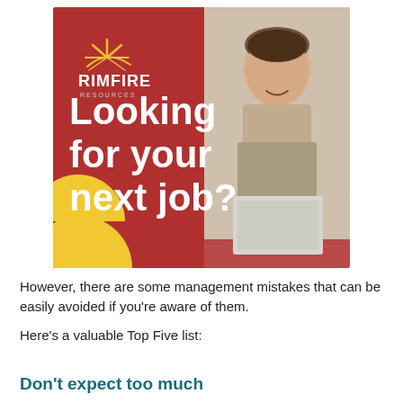[Figure (illustration): Rimfire Resources branded banner on a dark red background. Left side shows the Rimfire logo (sunburst icon in gold/yellow with 'RIMFIRE' text in white and 'RESOURCES' in small letters below) and large bold white text reading 'Looking for your next job?'. A yellow semicircle decorative element is in the bottom-left corner. Right side shows a photo of a smiling man in a suit jacket working on a laptop.]
However, there are some management mistakes that can be easily avoided if you're aware of them.
Here's a valuable Top Five list:
Don't expect too much